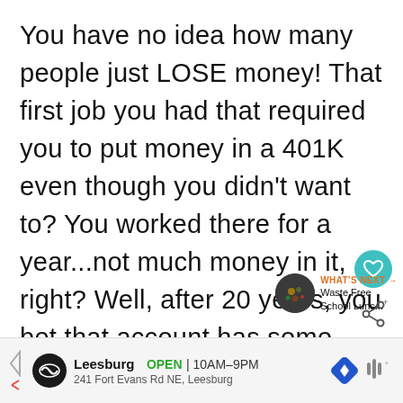You have no idea how many people just LOSE money!  That first job you had that required you to put money in a 401K even though you didn't want to?  You worked there for a year...not much money in it, right?  Well, after 20 years, you bet that account has some money in it now!
[Figure (screenshot): UI overlay showing a teal heart/like button circle and a share icon on the right side of the text]
[Figure (screenshot): What's Next recommendation widget showing a dark circular thumbnail and text 'WHAT'S NEXT → Waste Free School Lunc...']
[Figure (screenshot): Advertisement bar at the bottom showing Leesburg location, OPEN 10AM-9PM, 241 Fort Evans Rd NE, Leesburg, with navigation and weather icons]